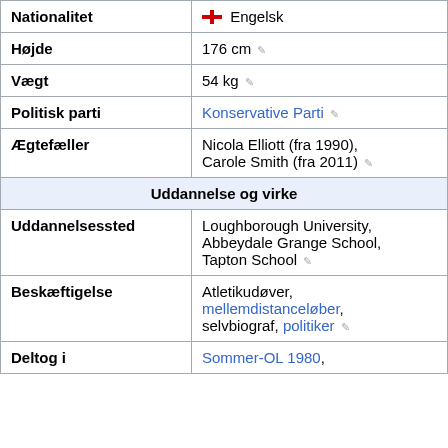| Label | Value |
| --- | --- |
| Nationalitet | Engelsk |
| Højde | 176 cm |
| Vægt | 54 kg |
| Politisk parti | Konservative Parti |
| Ægtefæller | Nicola Elliott (fra 1990), Carole Smith (fra 2011) |
| Uddannelse og virke |  |
| Uddannelsessted | Loughborough University, Abbeydale Grange School, Tapton School |
| Beskæftigelse | Atletikudøver, mellemdistanceløber, selvbiograf, politiker |
| Deltog i | Sommer-OL 1980, |